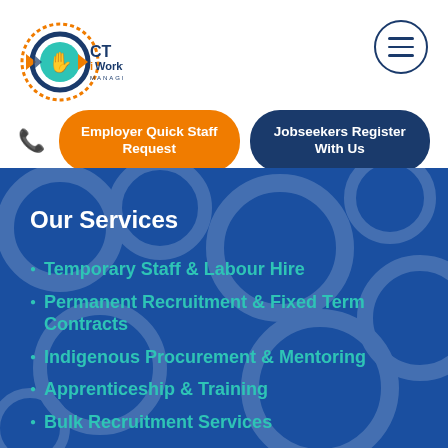[Figure (logo): CT iWorkforce Management logo with circular gear/hand emblem in orange, blue and teal, and text 'CT iWorkforce MANAGEMENT']
[Figure (other): Hamburger menu icon in a circle, top right corner]
Employer Quick Staff Request
Jobseekers Register With Us
Our Services
Temporary Staff & Labour Hire
Permanent Recruitment & Fixed Term Contracts
Indigenous Procurement & Mentoring
Apprenticeship & Training
Bulk Recruitment Services